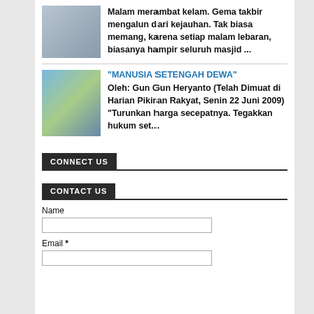[Figure (photo): Thumbnail image for first article, showing people gathering]
Malam merambat kelam. Gema takbir mengalun dari kejauhan. Tak biasa memang, karena setiap malam lebaran, biasanya hampir seluruh masjid ...
[Figure (illustration): Thumbnail image for second article - colorful illustration of a figure]
"MANUSIA SETENGAH DEWA"
Oleh: Gun Gun Heryanto (Telah Dimuat di Harian Pikiran Rakyat, Senin 22 Juni 2009) “Turunkan harga secepatnya. Tegakkan hukum set...
CONNECT US
CONTACT US
Name
Email *